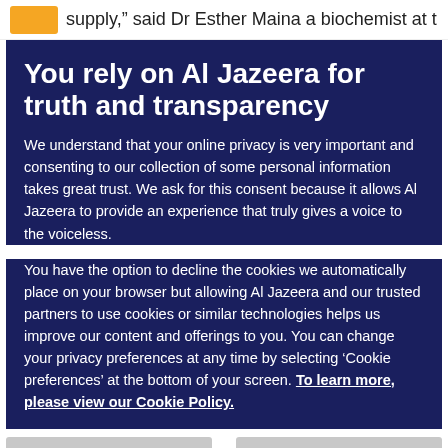supply," said Dr Esther Maina a biochemist at the
You rely on Al Jazeera for truth and transparency
We understand that your online privacy is very important and consenting to our collection of some personal information takes great trust. We ask for this consent because it allows Al Jazeera to provide an experience that truly gives a voice to the voiceless.
You have the option to decline the cookies we automatically place on your browser but allowing Al Jazeera and our trusted partners to use cookies or similar technologies helps us improve our content and offerings to you. You can change your privacy preferences at any time by selecting ‘Cookie preferences’ at the bottom of your screen. To learn more, please view our Cookie Policy.